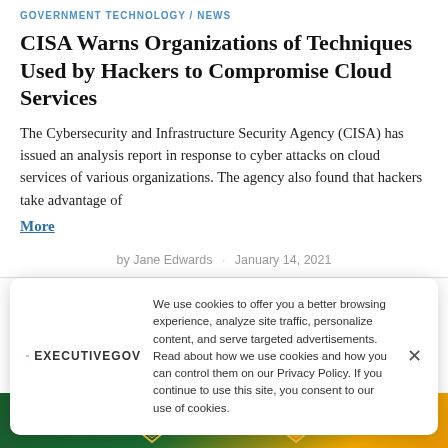GOVERNMENT TECHNOLOGY / NEWS
CISA Warns Organizations of Techniques Used by Hackers to Compromise Cloud Services
The Cybersecurity and Infrastructure Security Agency (CISA) has issued an analysis report in response to cyber attacks on cloud services of various organizations. The agency also found that hackers take advantage of
More
by Jane Edwards · January 14, 2021
We use cookies to offer you a better browsing experience, analyze site traffic, personalize content, and serve targeted advertisements. Read about how we use cookies and how you can control them on our Privacy Policy. If you continue to use this site, you consent to our use of cookies.
[Figure (photo): Bottom strip showing a government seal/badge with green and gold colors and stylized text]